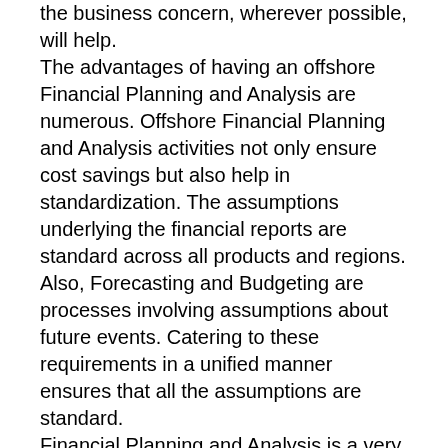the business concern, wherever possible, will help. The advantages of having an offshore Financial Planning and Analysis are numerous. Offshore Financial Planning and Analysis activities not only ensure cost savings but also help in standardization. The assumptions underlying the financial reports are standard across all products and regions. Also, Forecasting and Budgeting are processes involving assumptions about future events. Catering to these requirements in a unified manner ensures that all the assumptions are standard. Financial Planning and Analysis is a very dynamic and interesting function of finance. It requires the analyst to be deeply involved with the business and to understand not only the numbers, but also the science of running the